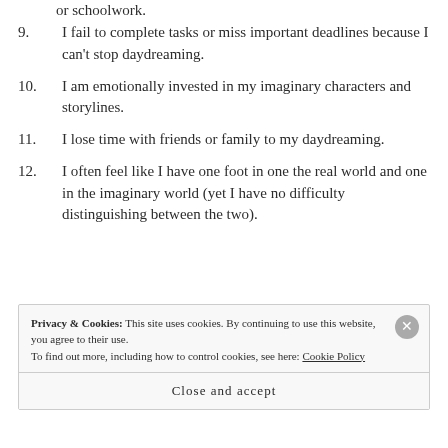or schoolwork.
9. I fail to complete tasks or miss important deadlines because I can't stop daydreaming.
10. I am emotionally invested in my imaginary characters and storylines.
11. I lose time with friends or family to my daydreaming.
12. I often feel like I have one foot in one the real world and one in the imaginary world (yet I have no difficulty distinguishing between the two).
Privacy & Cookies: This site uses cookies. By continuing to use this website, you agree to their use. To find out more, including how to control cookies, see here: Cookie Policy
Close and accept